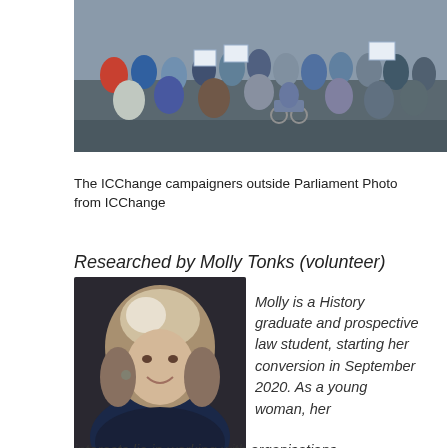[Figure (photo): Group photo of ICChange campaigners standing outside Parliament, holding signs, including people in wheelchairs]
The ICChange campaigners outside Parliament Photo from ICChange
Researched by Molly Tonks (volunteer)
[Figure (photo): Portrait photo of Molly Tonks, a young woman with long brown hair, smiling]
Molly is a History graduate and prospective law student, starting her conversion in September 2020. As a young woman, her interests lie in working with organisations